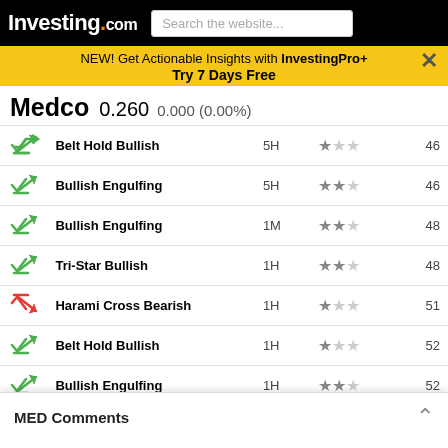Investing.com
NEW! Get Actionable Insights with InvestingPro+
Try 7 Days Free
Medco  0.260  0.000 (0.00%)
| Icon | Pattern | TF | Reliability | Candles Ago |
| --- | --- | --- | --- | --- |
| bullish | Belt Hold Bullish | 5H | 1 star | 46 |
| bullish | Bullish Engulfing | 5H | 2 stars | 46 |
| bullish | Bullish Engulfing | 1M | 2 stars | 48 |
| bullish | Tri-Star Bullish | 1H | 2 stars | 48 |
| bearish | Harami Cross Bearish | 1H | 1 star | 51 |
| bullish | Belt Hold Bullish | 1H | 1 star | 52 |
| bullish | Bullish Engulfing | 1H | 2 stars | 52 |
| bullish | Tri-Star Bullish | 30 | 2 stars | 52 |
| bearish | Tri-Star Bearish | 30 | 3 stars | 53 |
| bullish | Belt Hold Bullish | 1M | 1 star | 54 |
| bullish | Inverted Hammer | 1M | 1 star | 54 |
| bullish | Tri-Star Bullish | 30 | 2 stars | 54 |
| bullish | Belt Hold Bullish | 5H | 1 star | 57 |
| bullish | Belt Hold Bullish | 5H | 1 star | 57 |
MED Comments